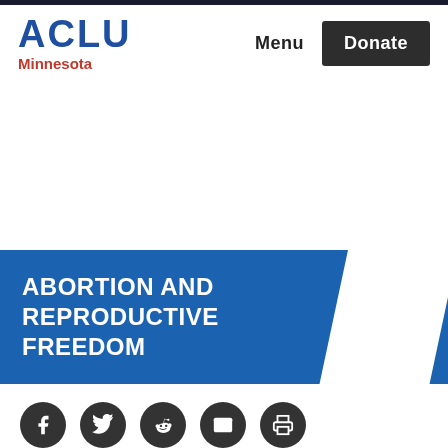[Figure (logo): ACLU Minnesota logo with 'ACLU' in bold blue and 'Minnesota' in red below]
Menu  Donate
ABORTION AND REPRODUCTIVE FREEDOM
[Figure (other): Social media icons row: Facebook, Twitter, Reddit, Email, Print]